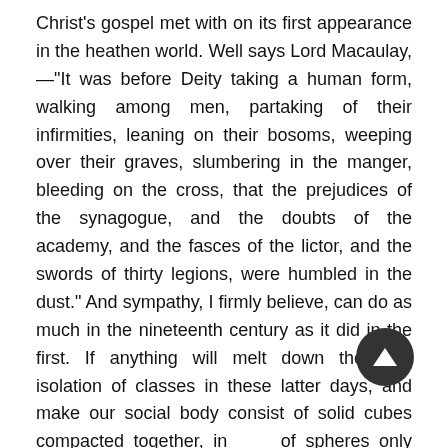Christ's gospel met with on its first appearance in the heathen world. Well says Lord Macaulay,—"It was before Deity taking a human form, walking among men, partaking of their infirmities, leaning on their bosoms, weeping over their graves, slumbering in the manger, bleeding on the cross, that the prejudices of the synagogue, and the doubts of the academy, and the fasces of the lictor, and the swords of thirty legions, were humbled in the dust." And sympathy, I firmly believe, can do as much in the nineteenth century as it did in the first. If anything will melt down the cold isolation of classes in these latter days, and make our social body consist of solid cubes compacted together, instead of spheres only touching